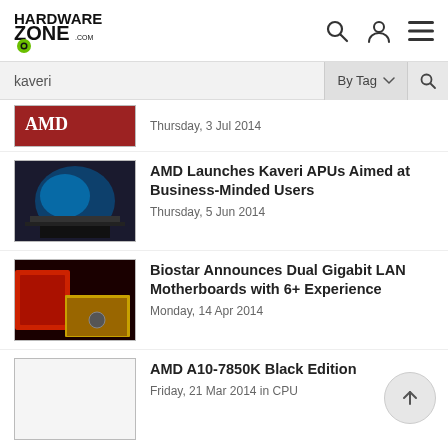HardwareZone.com
kaveri
By Tag
Thursday, 3 Jul 2014
AMD Launches Kaveri APUs Aimed at Business-Minded Users
Thursday, 5 Jun 2014
Biostar Announces Dual Gigabit LAN Motherboards with 6+ Experience
Monday, 14 Apr 2014
AMD A10-7850K Black Edition
Friday, 21 Mar 2014 in CPU
Biostar Releases Hi-Fi A88W 3D